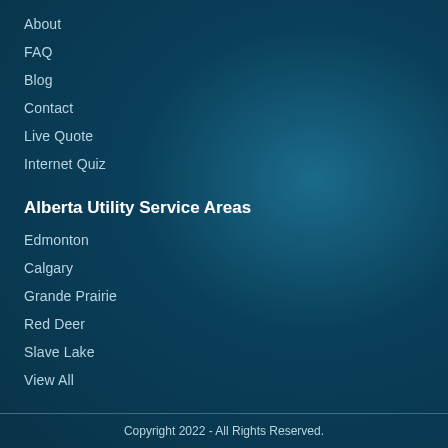About
FAQ
Blog
Contact
Live Quote
Internet Quiz
Alberta Utility Service Areas
Edmonton
Calgary
Grande Prairie
Red Deer
Slave Lake
View All
Copyright 2022 - All Rights Reserved.